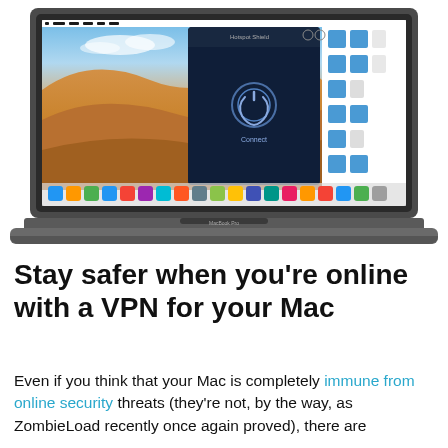[Figure (screenshot): A MacBook Pro laptop displaying a macOS desktop with the Hotspot Shield VPN application open, showing a dark panel with a power/connect button in the center and 'Connect' text below it. The desktop background shows a sandy desert landscape with blue sky.]
Stay safer when you’re online with a VPN for your Mac
Even if you think that your Mac is completely immune from online security threats (they’re not, by the way, as ZombieLoad recently once again proved), there are